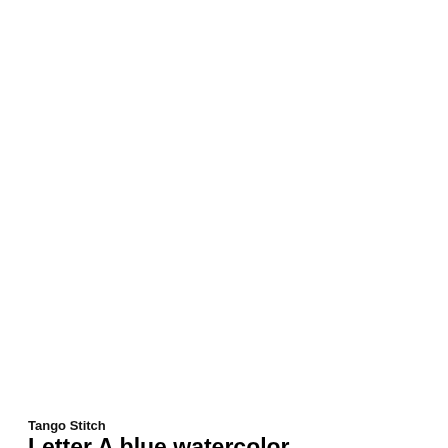[Figure (photo): Cross stitch pattern of letter A with blue watercolor pastel design in a blue frame]
[Figure (photo): Thumbnail image of the cross stitch pattern showing floral blue watercolor design]
[Figure (photo): Thumbnail image of cross stitch chart/pattern grid]
Tango Stitch
Letter A blue watercolor pastel cross stitch pattern
$4.85